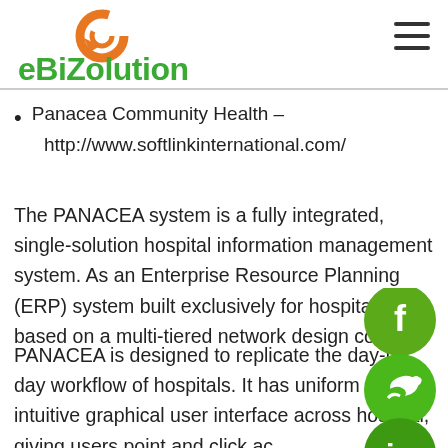eBiZolution
Panacea Community Health – http://www.softlinkinternational.com/
The PANACEA system is a fully integrated, single-solution hospital information management system. As an Enterprise Resource Planning (ERP) system built exclusively for hospitals and based on a multi-tiered network design concept
PANACEA is designed to replicate the day-to-day workflow of hospitals. It has uniform and intuitive graphical user interface across hospital, giving users point and click access to all